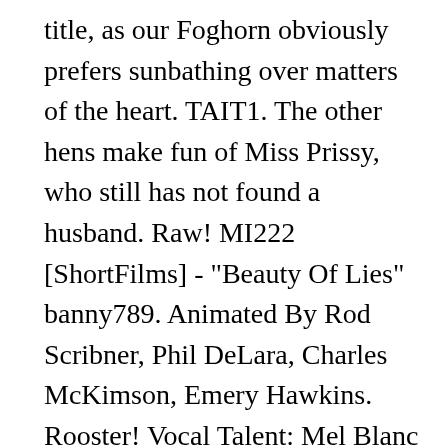title, as our Foghorn obviously prefers sunbathing over matters of the heart. TAIT1. The other hens make fun of Miss Prissy, who still has not found a husband. Raw! MI222 [ShortFilms] - "Beauty Of Lies" banny789. Animated By Rod Scribner, Phil DeLara, Charles McKimson, Emery Hawkins. Rooster! Vocal Talent: Mel Blanc (Foghorn Leghorn, Barnyard Dog), Bea Benederet (Miss Prissy, Hens). ... From: Lovelorn Leghorn. Wonder Woman 1984. Sep. 24. Foghorn J. Leghorn, the loudest mouth in all the South, rules the roost in this exclusive collection of 17 Looney Tunes shorts. Music By Eugene Poddany. Foghorn Leghorn is a giant anthropomorphic rooster with a virginian accent, a "good ol'"